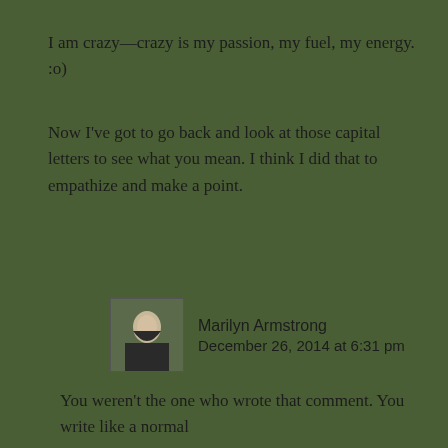I am crazy—crazy is my passion, my fuel, my energy. :o)
Now I've got to go back and look at those capital letters to see what you mean. I think I did that to empathize and make a point.
Marilyn Armstrong
December 26, 2014 at 6:31 pm
You weren't the one who wrote that comment. You write like a normal